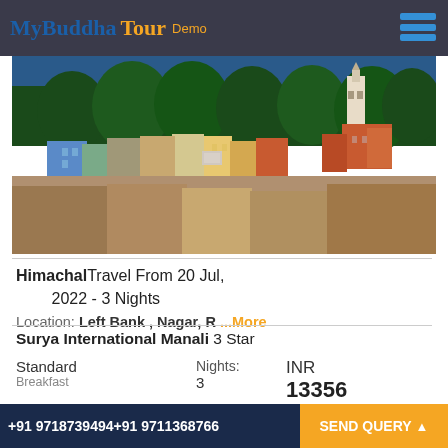MyBuddha Tour Demo
[Figure (photo): Aerial/hillside view of Shimla/Manali town with colorful buildings, church tower, and dense trees against blue sky]
Himachal Travel From 20 Jul, 2022 - 3 Nights
Location: Left Bank , Nagar, R ...More
Surya International Manali 3 Star
Standard
Breakfast
Nights: 3
INR 13356
Price per Adult - Twin Sharing
View details ▼  Send Query
+91 9718739494+91 9711368766  SEND QUERY ▲